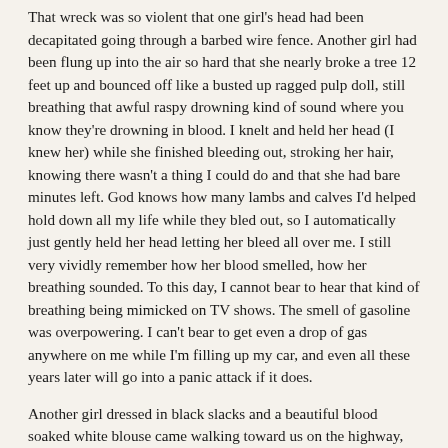That wreck was so violent that one girl's head had been decapitated going through a barbed wire fence. Another girl had been flung up into the air so hard that she nearly broke a tree 12 feet up and bounced off like a busted up ragged pulp doll, still breathing that awful raspy drowning kind of sound where you know they're drowning in blood. I knelt and held her head (I knew her) while she finished bleeding out, stroking her hair, knowing there wasn't a thing I could do and that she had bare minutes left. God knows how many lambs and calves I'd helped hold down all my life while they bled out, so I automatically just gently held her head letting her bleed all over me. I still very vividly remember how her blood smelled, how her breathing sounded. To this day, I cannot bear to hear that kind of breathing being mimicked on TV shows. The smell of gasoline was overpowering. I can't bear to get even a drop of gas anywhere on me while I'm filling up my car, and even all these years later will go into a panic attack if it does.
Another girl dressed in black slacks and a beautiful blood soaked white blouse came walking toward us on the highway, so delirious that we couldn't tell if she even knew she'd been in a wreck. We could smell alcohol, maybe being really drunk saved her, but it sure didn't save the rest. When EMTs finally arrived, they found